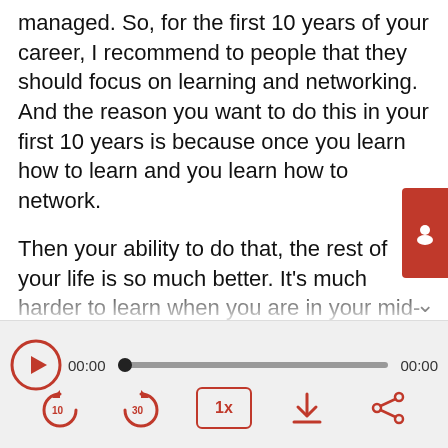managed. So, for the first 10 years of your career, I recommend to people that they should focus on learning and networking. And the reason you want to do this in your first 10 years is because once you learn how to learn and you learn how to network.
Then your ability to do that, the rest of your life is so much better. It's much harder to learn when you are in your mid-forties. If you haven't learned networking in your first 10 years, you'll have it very difficult to start networking when you get older. So
[Figure (screenshot): Audio player UI with play button, progress bar showing 00:00 timestamps, and controls: rewind 10s, forward 30s, 1x speed, download, share]